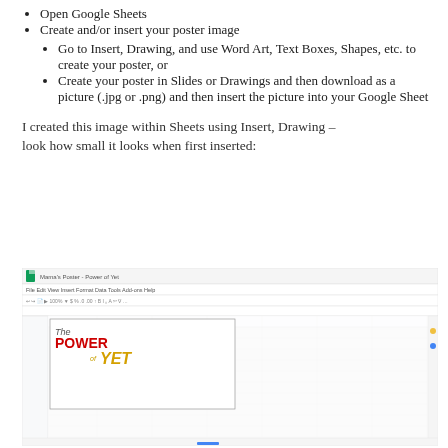Open Google Sheets
Create and/or insert your poster image
Go to Insert, Drawing, and use Word Art, Text Boxes, Shapes, etc. to create your poster, or
Create your poster in Slides or Drawings and then download as a picture (.jpg or .png) and then insert the picture into your Google Sheet
I created this image within Sheets using Insert, Drawing – look how small it looks when first inserted:
[Figure (screenshot): Screenshot of Google Sheets with a small inserted image in the top-left area of the spreadsheet showing 'The Power of YET' text art]